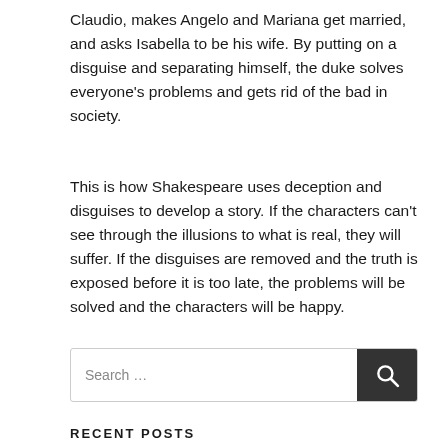Claudio, makes Angelo and Mariana get married, and asks Isabella to be his wife. By putting on a disguise and separating himself, the duke solves everyone's problems and gets rid of the bad in society.
This is how Shakespeare uses deception and disguises to develop a story. If the characters can't see through the illusions to what is real, they will suffer. If the disguises are removed and the truth is exposed before it is too late, the problems will be solved and the characters will be happy.
Search ...
RECENT POSTS